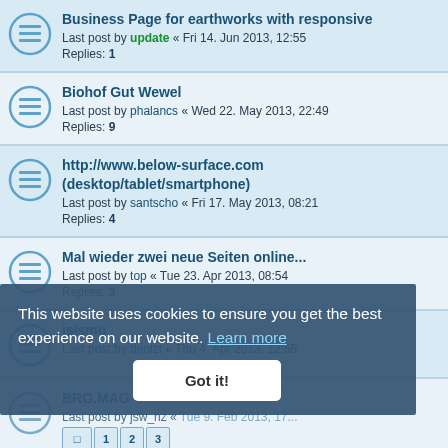Business Page for earthworks with responsive
Last post by update « Fri 14. Jun 2013, 12:55
Replies: 1
Biohof Gut Wewel
Last post by phalancs « Wed 22. May 2013, 22:49
Replies: 9
http://www.below-surface.com (desktop/tablet/smartphone)
Last post by santscho « Fri 17. May 2013, 08:21
Replies: 4
Mal wieder zwei neue Seiten online...
Last post by top « Tue 23. Apr 2013, 08:54
Replies: 3
isismu
Last post by denizt « Thu 4. Apr 2013, 12:55
BRO.MAG
Last post by jsw_hz « Tue 9. Feb 2013, 17...
Replies: ...  [pages 1 2 3]
one-page
Last post by phalancs « Tue 4. Dec 2012, 15:13
Replies: 2
Klassik Karts
Last post by RangeFury « Sun 25. Nov 2012, 20:29
This website uses cookies to ensure you get the best experience on our website. Learn more
Got it!